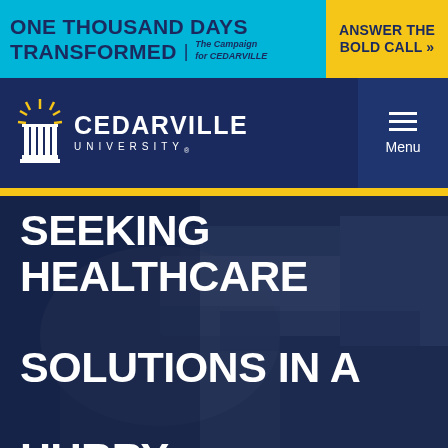[Figure (logo): One Thousand Days Transformed - The Campaign for Cedarville University banner with cyan background]
ANSWER THE BOLD CALL »
[Figure (logo): Cedarville University logo with torch icon on dark navy background with hamburger menu]
SEEKING HEALTHCARE SOLUTIONS IN A HURRY